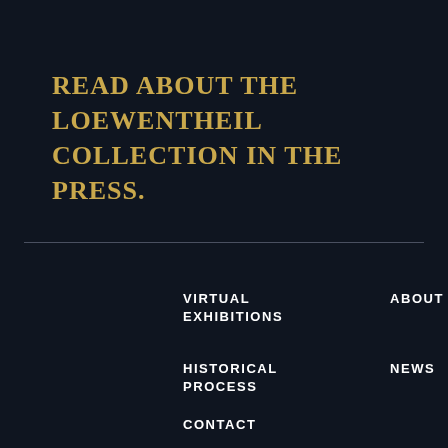READ ABOUT THE LOEWENTHEIL COLLECTION IN THE PRESS.
VIRTUAL EXHIBITIONS
ABOUT
HISTORICAL PROCESS
NEWS
CONTACT